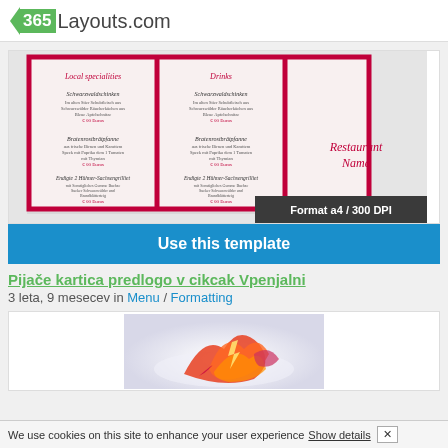365Layouts.com
[Figure (illustration): Restaurant menu template preview showing a tri-fold menu with 'Local specialities', 'Drinks', and 'Restaurant Name' panels, with a 'Format a4 / 300 DPI' badge overlay]
Use this template
Pijače kartica predlogo v cikcak Vpenjalni
3 leta, 9 mesecev in Menu / Formatting
[Figure (illustration): Abstract colorful design with orange, red, and pink shapes on light background]
We use cookies on this site to enhance your user experience Show details